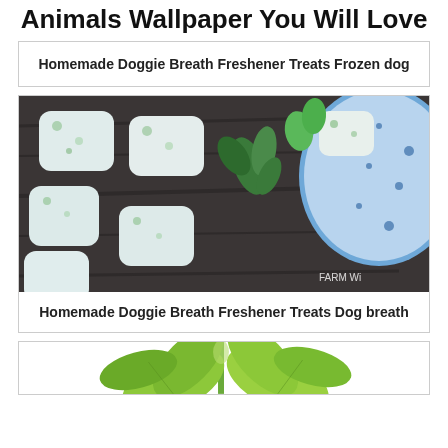Animals Wallpaper You Will Love
Homemade Doggie Breath Freshener Treats Frozen dog
[Figure (photo): Frozen yogurt treats shaped as rounded rectangles with green herbs, on dark wood surface next to a blue speckled bowl. Green herbs/parsley visible. FARM WI watermark.]
Homemade Doggie Breath Freshener Treats Dog breath
[Figure (photo): Partial view of green leafy herb (celery or parsley) from below on white background.]